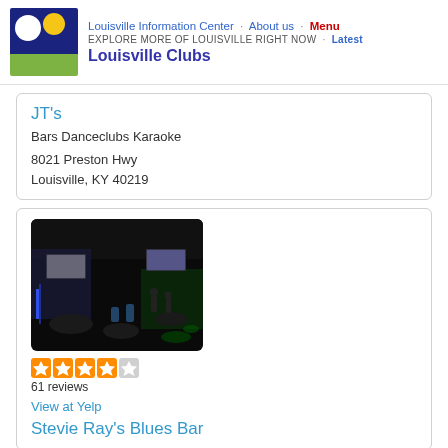Louisville Information Center · About us · Menu
EXPLORE MORE OF LOUISVILLE RIGHT NOW · Latest
Louisville Clubs
JT's
Bars Danceclubs Karaoke
8021 Preston Hwy
Louisville, KY 40219
[Figure (photo): Interior of a dark nightclub/bar with blue and green lighting, tables and chairs, screens on walls]
61 reviews
View at Yelp
Stevie Ray's Blues Bar